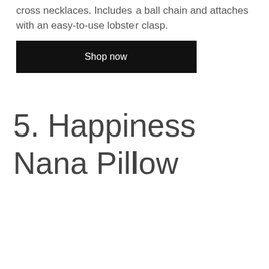cross necklaces. Includes a ball chain and attaches with an easy-to-use lobster clasp.
Shop now
5. Happiness Nana Pillow